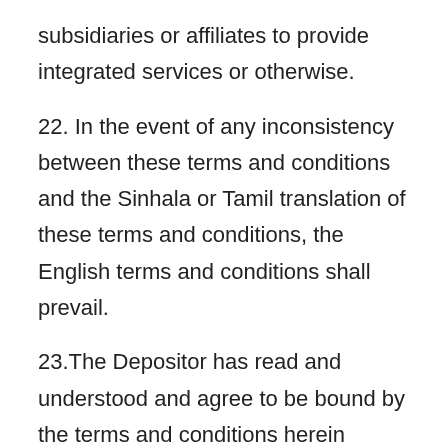subsidiaries or affiliates to provide integrated services or otherwise.
22. In the event of any inconsistency between these terms and conditions and the Sinhala or Tamil translation of these terms and conditions, the English terms and conditions shall prevail.
23.The Depositor has read and understood and agree to be bound by the terms and conditions herein contained.